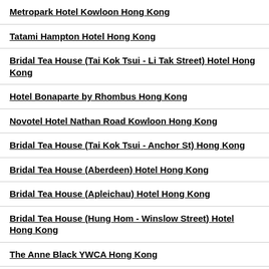Metropark Hotel Kowloon Hong Kong
Tatami Hampton Hotel Hong Kong
Bridal Tea House (Tai Kok Tsui - Li Tak Street) Hotel Hong Kong
Hotel Bonaparte by Rhombus Hong Kong
Novotel Hotel Nathan Road Kowloon Hong Kong
Bridal Tea House (Tai Kok Tsui - Anchor St) Hong Kong
Bridal Tea House (Aberdeen) Hotel Hong Kong
Bridal Tea House (Apleichau) Hotel Hong Kong
Bridal Tea House (Hung Hom - Winslow Street) Hotel Hong Kong
The Anne Black YWCA Hong Kong
Caritas Bianchi Lodge Hong Kong